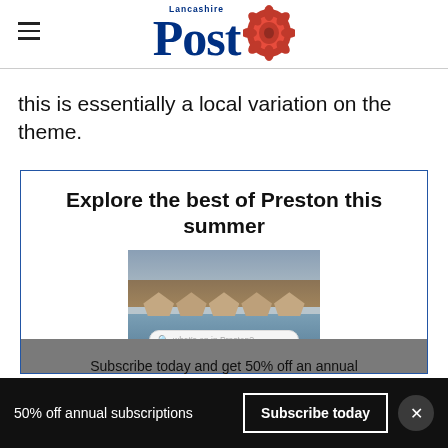Lancashire Post
this is essentially a local variation on the theme.
[Figure (infographic): Promotional box with title 'Explore the best of Preston this summer', an image of wooden boathouses reflected in water with a search bar overlay reading 'what's on in Preston?', and subscribe text below.]
50% off annual subscriptions   Subscribe today